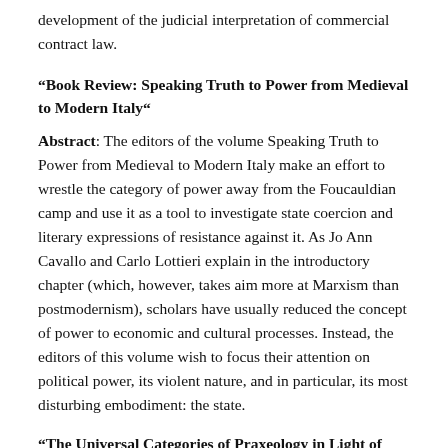development of the judicial interpretation of commercial contract law.
“Book Review: Speaking Truth to Power from Medieval to Modern Italy“
Abstract: The editors of the volume Speaking Truth to Power from Medieval to Modern Italy make an effort to wrestle the category of power away from the Foucauldian camp and use it as a tool to investigate state coercion and literary expressions of resistance against it. As Jo Ann Cavallo and Carlo Lottieri explain in the introductory chapter (which, however, takes aim more at Marxism than postmodernism), scholars have usually reduced the concept of power to economic and cultural processes. Instead, the editors of this volume wish to focus their attention on political power, its violent nature, and in particular, its most disturbing embodiment: the state.
“The Universal Categories of Praxeology in Light of Natural Semantic Metalanguage Theory”